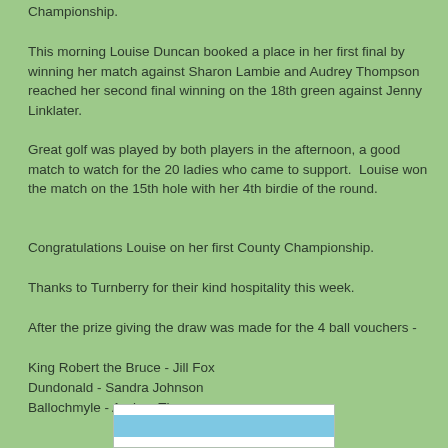Championship.
This morning Louise Duncan booked a place in her first final by winning her match against Sharon Lambie and Audrey Thompson reached her second final winning on the 18th green against Jenny Linklater.
Great golf was played by both players in the afternoon, a good match to watch for the 20 ladies who came to support.  Louise won the match on the 15th hole with her 4th birdie of the round.
Congratulations Louise on her first County Championship.
Thanks to Turnberry for their kind hospitality this week.
After the prize giving the draw was made for the 4 ball vouchers -
King Robert the Bruce - Jill Fox
Dundonald - Sandra Johnson
Ballochmyle - Audrey Thompson
[Figure (photo): Partial view of an image at the bottom of the page showing a blue sky or water element]